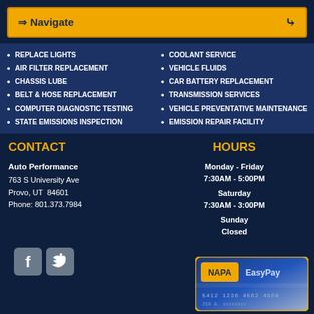Navigate
REPLACE LIGHTS
AIR FILTER REPLACEMENT
CHASSIS LUBE
BELT & HOSE REPLACEMENT
COMPUTER DIAGNOSTIC TESTING
STATE EMISSIONS INSPECTION
COOLANT SERVICE
VEHICLE FLUIDS
CAR BATTERY REPLACEMENT
TRANSMISSION SERVICES
VEHICLE PREVENTATIVE MAINTENANCE
EMISSION REPAIR FACILITY
CONTACT
Auto Performance
763 S University Ave
Provo, UT  84601
Phone: 801.373.7984
HOURS
Monday - Friday
7:30AM - 5:00PM
Saturday
7:30AM - 3:00PM
Sunday
Closed
[Figure (logo): Facebook and Twitter social media icons]
[Figure (photo): NAPA EasyPay credit card image]